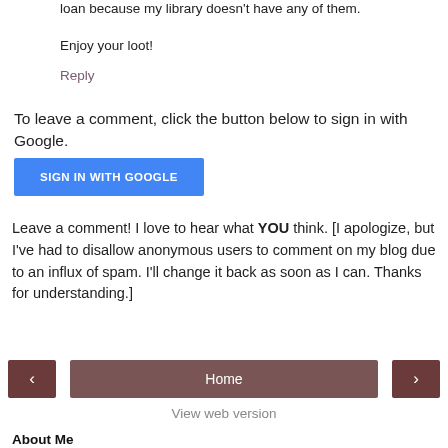loan because my library doesn't have any of them.
Enjoy your loot!
Reply
To leave a comment, click the button below to sign in with Google.
[Figure (other): Blue 'SIGN IN WITH GOOGLE' button]
Leave a comment! I love to hear what YOU think. [I apologize, but I've had to disallow anonymous users to comment on my blog due to an influx of spam. I'll change it back as soon as I can. Thanks for understanding.]
[Figure (other): Navigation bar with left arrow button, Home button, and right arrow button]
View web version
About Me